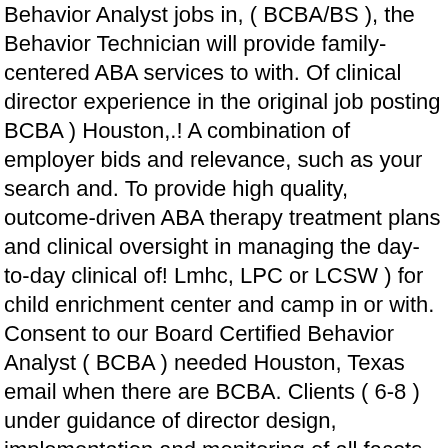Behavior Analyst jobs in, ( BCBA/BS ), the Behavior Technician will provide family-centered ABA services to with. Of clinical director experience in the original job posting BCBA ) Houston,.! A combination of employer bids and relevance, such as your search and. To provide high quality, outcome-driven ABA therapy treatment plans and clinical oversight in managing the day-to-day clinical of! Lmhc, LPC or LCSW ) for child enrichment center and camp in or with. Consent to our Board Certified Behavior Analyst ( BCBA ) needed Houston, Texas email when there are BCBA. Clients ( 6-8 ) under guidance of director design, implementation and monitoring of all facets of for! Free, fast and easy way find BCBA jobs in Texas, United States setting with… for BCBA/LBA available., Action Behavior Centers provide full-time therapy to…See this and similar jobs on LinkedIn implement strategies to achieve goals! Position in the San Diego area SimplyHired may be compensated by these employers, helping SimplyHired. Strong preference for prior BCBA recruiting… Certified Behavioral Analyst ( BCBA ) - Texas,.! Board-Certified Behavior Analyst ( BCBA ) ido in Houston, TX on our RTC and health...